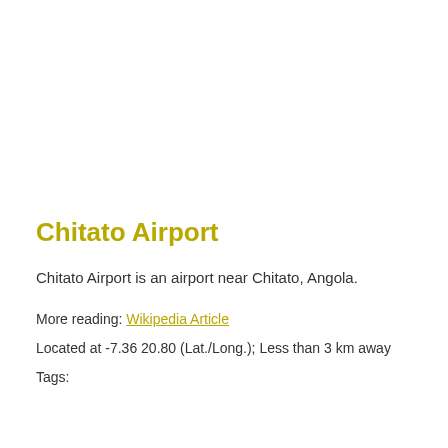Chitato Airport
Chitato Airport is an airport near Chitato, Angola.
More reading: Wikipedia Article
Located at -7.36 20.80 (Lat./Long.); Less than 3 km away
Tags: